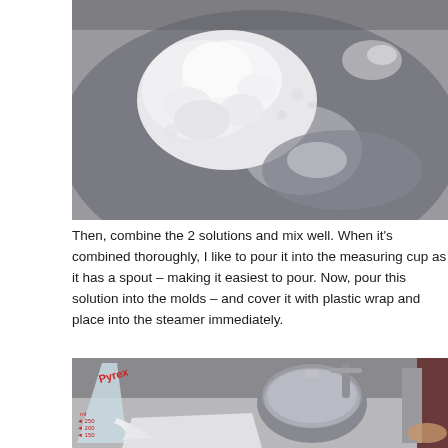[Figure (photo): Close-up photo of white powder/flour in a mixing bowl, viewed from above. Silver bowl visible with white powdery substance.]
Then, combine the 2 solutions and mix well. When it's combined thoroughly, I like to pour it into the measuring cup as it has a spout – making it easiest to pour. Now, pour this solution into the molds – and cover it with plastic wrap and place into the steamer immediately.
[Figure (photo): Photo of a Pyrex measuring cup (showing 250ml, 200ml, 150ml markings) being poured into a mold. A steamer pot with glass lid is visible in the background on a countertop.]